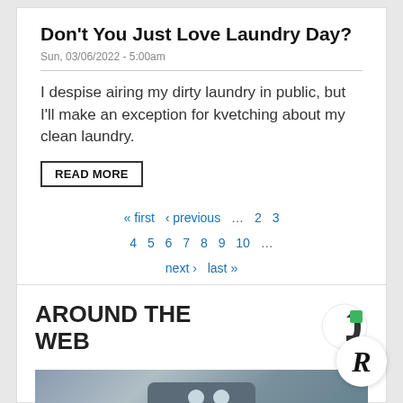Don't You Just Love Laundry Day?
Sun, 03/06/2022 - 5:00am
I despise airing my dirty laundry in public, but I'll make an exception for kvetching about my clean laundry.
READ MORE
« first   ‹ previous   …   2   3
4   5   6   7   8   9   10   …
next ›   last »
AROUND THE WEB
[Figure (photo): Grey mechanical part or tool, close-up photograph with metallic surface and circular bolts/eyes visible]